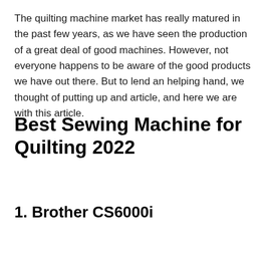The quilting machine market has really matured in the past few years, as we have seen the production of a great deal of good machines. However, not everyone happens to be aware of the good products we have out there. But to lend an helping hand, we thought of putting up and article, and here we are with this article.
Best Sewing Machine for Quilting 2022
1. Brother CS6000i